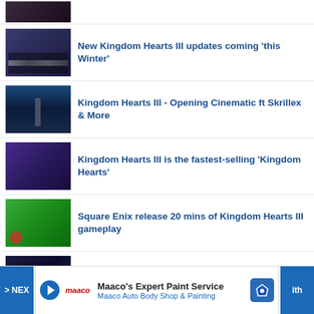[Figure (screenshot): Thumbnail of a dark game screenshot (partial, cropped at top)]
New Kingdom Hearts III updates coming 'this Winter'
Kingdom Hearts III - Opening Cinematic ft Skrillex & More
Kingdom Hearts III is the fastest-selling 'Kingdom Hearts'
Square Enix release 20 mins of Kingdom Hearts III gameplay
Square Enix to combine dev teams amid losses
[Figure (screenshot): Advertisement: Maaco's Expert Paint Service — Maaco Auto Body Shop & Painting]